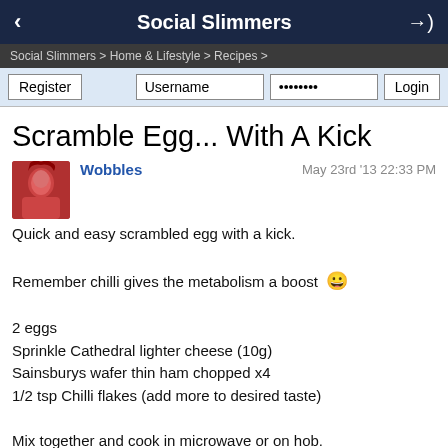Social Slimmers
Social Slimmers > Home & Lifestyle > Recipes >
Scramble Egg... With A Kick
Wobbles   May 23rd '13 22:33 PM
Quick and easy scrambled egg with a kick.

Remember chilli gives the metabolism a boost 😁

2 eggs
Sprinkle Cathedral lighter cheese (10g)
Sainsburys wafer thin ham chopped x4
1/2 tsp Chilli flakes (add more to desired taste)

Mix together and cook in microwave or on hob.

YUM!